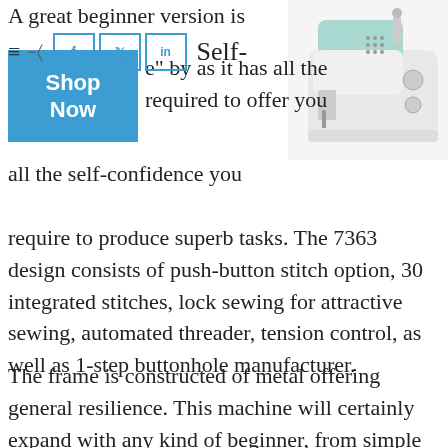A great beginner version is
[Figure (screenshot): Social media share buttons: hamburger menu, share icon, Facebook (f), Twitter (bird), LinkedIn (in) buttons, followed by the word 'Self-']
[Figure (photo): Singer sewing machine model 7363, white and mint green color, shown from the front-right angle]
Shop Now
e" by as it has all the required to offer you all the self-confidence you
require to produce superb tasks. The 7363 design consists of push-button stitch option, 30 integrated stitches, lock sewing for attractive sewing, automated threader, tension control, as well as 1-step buttonhole manufacturer.
The frame is constructed of metal offering general resilience. This machine will certainly expand with any kind of beginner, from simple